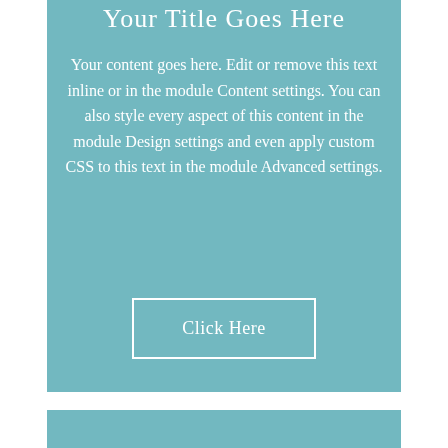Your Title Goes Here
Your content goes here. Edit or remove this text inline or in the module Content settings. You can also style every aspect of this content in the module Design settings and even apply custom CSS to this text in the module Advanced settings.
Click Here